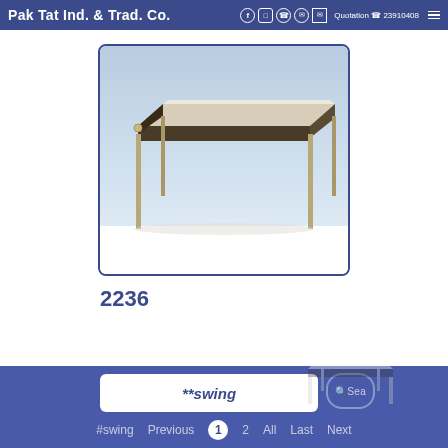Pak Tat Ind. & Trad. Co.  Quotation  23910408
[Figure (photo): A canopy/awning product with beige/tan fabric top and dark underside, supported by four metal poles, shown against a light blue-grey background. Product code 2236.]
2236
**swing  #swing  Previous  1  2  All  Last  Next